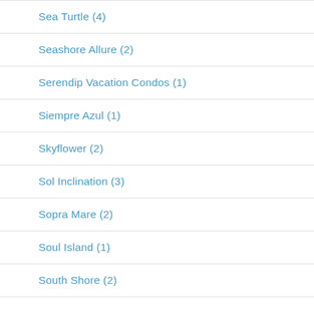Sea Turtle (4)
Seashore Allure (2)
Serendip Vacation Condos (1)
Siempre Azul (1)
Skyflower (2)
Sol Inclination (3)
Sopra Mare (2)
Soul Island (1)
South Shore (2)